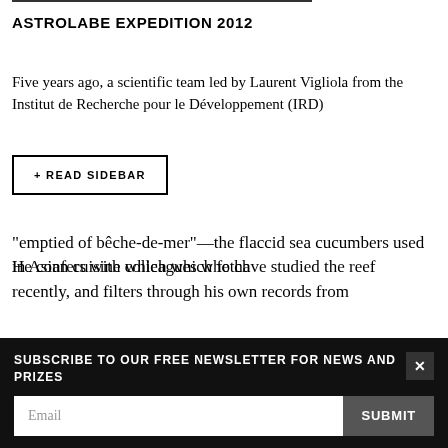ASTROLABE EXPEDITION 2012
Five years ago, a scientific team led by Laurent Vigliola from the Institut de Recherche pour le Développement (IRD)
+ READ SIDEBAR
He confers with colleagues who have studied the reef recently, and filters through his own records from
SUBSCRIBE TO OUR FREE NEWSLETTER FOR NEWS AND PRIZES
"emptied of bêche-de-mer"—the flaccid sea cucumbers used in Asian cuisine which which fetch